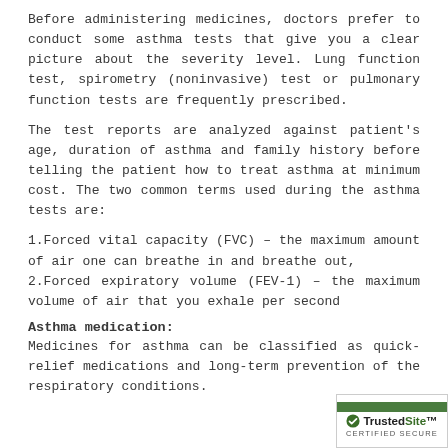Before administering medicines, doctors prefer to conduct some asthma tests that give you a clear picture about the severity level. Lung function test, spirometry (noninvasive) test or pulmonary function tests are frequently prescribed.
The test reports are analyzed against patient's age, duration of asthma and family history before telling the patient how to treat asthma at minimum cost. The two common terms used during the asthma tests are:
1.Forced vital capacity (FVC) – the maximum amount of air one can breathe in and breathe out,
2.Forced expiratory volume (FEV-1) – the maximum volume of air that you exhale per second
Asthma medication:
Medicines for asthma can be classified as quick-relief medications and long-term prevention of the respiratory conditions.
[Figure (logo): TrustedSite Certified Secure badge with green checkmark and olive green banner at top]